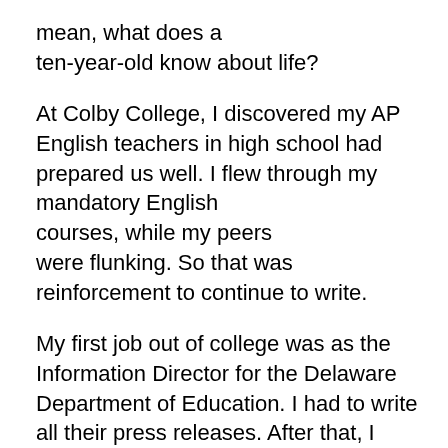mean, what does a ten-year-old know about life?
At Colby College, I discovered my AP English teachers in high school had prepared us well. I flew through my mandatory English courses, while my peers were flunking. So that was reinforcement to continue to write.
My first job out of college was as the Information Director for the Delaware Department of Education. I had to write all their press releases. After that, I kept journals.
Both of my published books are nonfiction memoirs. The